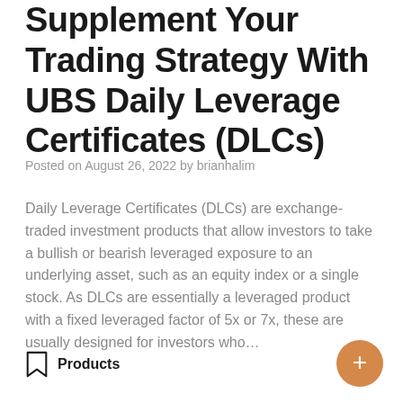Supplement Your Trading Strategy With UBS Daily Leverage Certificates (DLCs)
Posted on August 26, 2022 by brianhalim
Daily Leverage Certificates (DLCs) are exchange-traded investment products that allow investors to take a bullish or bearish leveraged exposure to an underlying asset, such as an equity index or a single stock. As DLCs are essentially a leveraged product with a fixed leveraged factor of 5x or 7x, these are usually designed for investors who…
Products